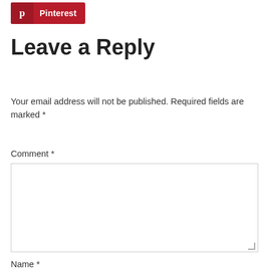[Figure (logo): Pinterest share button with red background, white P icon on left, white text 'Pinterest' on right]
Leave a Reply
Your email address will not be published. Required fields are marked *
Comment *
Name *